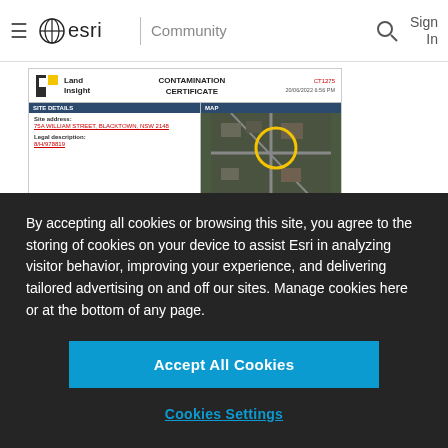≡  esri | Community   🔍  Sign In
[Figure (screenshot): A partial screenshot of a Land Insight Contamination Certificate document showing site details for 75A WILLIAM STREET, BLACKTOWN, NSW 2148, legal description 8/H/978819, with a satellite map image on the right side.]
By accepting all cookies or browsing this site, you agree to the storing of cookies on your device to assist Esri in analyzing visitor behavior, improving your experience, and delivering tailored advertising on and off our sites. Manage cookies here or at the bottom of any page.
Accept All Cookies
Cookies Settings